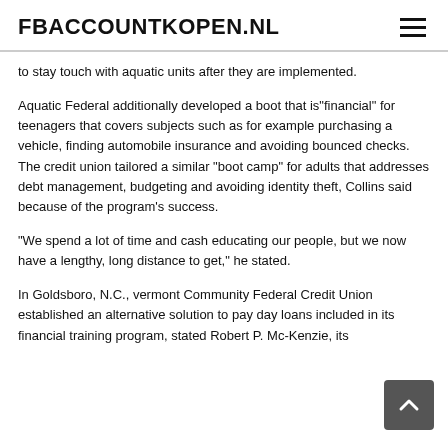FBACCOUNTKOPEN.NL
to stay touch with aquatic units after they are implemented.
Aquatic Federal additionally developed a boot that is"financial" for teenagers that covers subjects such as for example purchasing a vehicle, finding automobile insurance and avoiding bounced checks. The credit union tailored a similar “boot camp” for adults that addresses debt management, budgeting and avoiding identity theft, Collins said because of the program’s success.
“We spend a lot of time and cash educating our people, but we now have a lengthy, long distance to get,” he stated.
In Goldsboro, N.C., vermont Community Federal Credit Union established an alternative solution to pay day loans included in its financial training program, stated Robert P. Mc-Kenzie, its